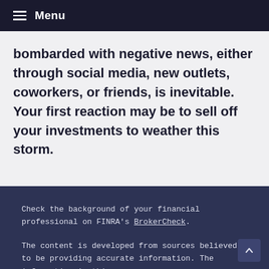Menu
bombarded with negative news, either through social media, new outlets, coworkers, or friends, is inevitable. Your first reaction may be to sell off your investments to weather this storm.
Check the background of your financial professional on FINRA's BrokerCheck.
The content is developed from sources believed to be providing accurate information. The information in this